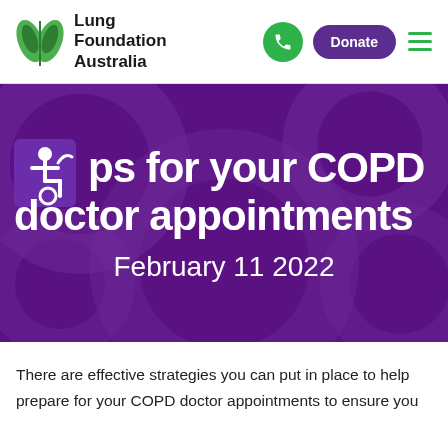[Figure (logo): Lung Foundation Australia logo with green leaf/lung icon and text]
[Figure (screenshot): Navigation bar with green phone button, purple Donate button, and green hamburger menu]
[Figure (infographic): Purple hero banner with wheelchair accessibility icon and text: 'ps for your COPD doctor appointments' and date 'February 11 2022']
There are effective strategies you can put in place to help prepare for your COPD doctor appointments to ensure you